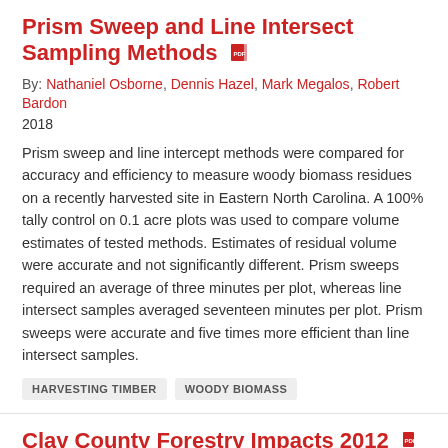Prism Sweep and Line Intersect Sampling Methods
By: Nathaniel Osborne, Dennis Hazel, Mark Megalos, Robert Bardon
2018
Prism sweep and line intercept methods were compared for accuracy and efficiency to measure woody biomass residues on a recently harvested site in Eastern North Carolina. A 100% tally control on 0.1 acre plots was used to compare volume estimates of tested methods. Estimates of residual volume were accurate and not significantly different. Prism sweeps required an average of three minutes per plot, whereas line intersect samples averaged seventeen minutes per plot. Prism sweeps were accurate and five times more efficient than line intersect samples.
HARVESTING TIMBER
WOODY BIOMASS
Clay County Forestry Impacts 2012